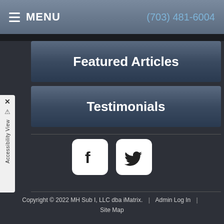MENU | (703) 481-6004
Featured Articles
Testimonials
[Figure (other): Facebook and Twitter social media icon buttons (white rounded square icons on dark background)]
Copyright © 2022 MH Sub I, LLC dba iMatrix. | Admin Log In | Site Map